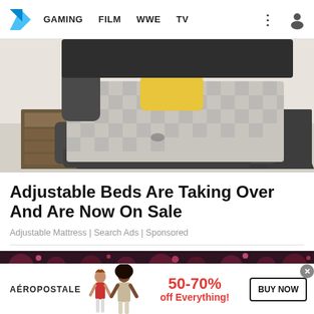GAMING | FILM | WWE | TV
[Figure (photo): A large modern platform bed with dark grey upholstered frame, checkered bedding, yellow pillows, and built-in wooden side shelves/storage units on both sides.]
Adjustable Beds Are Taking Over And Are Now On Sale
Adjustable Mattress | Search Ads | Sponsored
[Figure (photo): Blurred concert/event photo with pink/red stage lights in the background, partially visible at the bottom of page.]
[Figure (other): Aeropostale advertisement banner: two female models, text '50-70% off Everything!' in red, and a 'BUY NOW' button.]